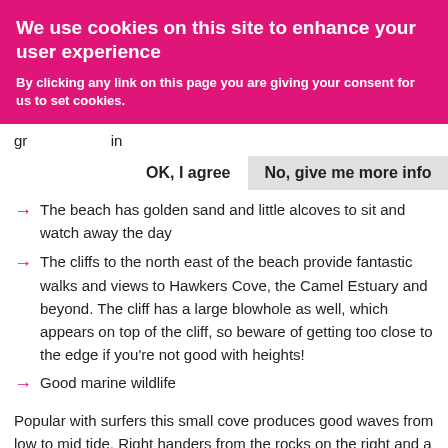We use cookies on this site to enhance your user experience
By clicking any link on this page you are giving your consent for us to set cookies.
[Figure (other): Cookie consent buttons: 'OK, I agree' and 'No, give me more info']
The beach has golden sand and little alcoves to sit and watch away the day
The cliffs to the north east of the beach provide fantastic walks and views to Hawkers Cove, the Camel Estuary and beyond. The cliff has a large blowhole as well, which appears on top of the cliff, so beware of getting too close to the edge if you're not good with heights!
Good marine wildlife
Popular with surfers this small cove produces good waves from low to mid tide. Right handers from the rocks on the right and a peak in the middle that has mainly rights and shorter lefts. It also has lefts off the